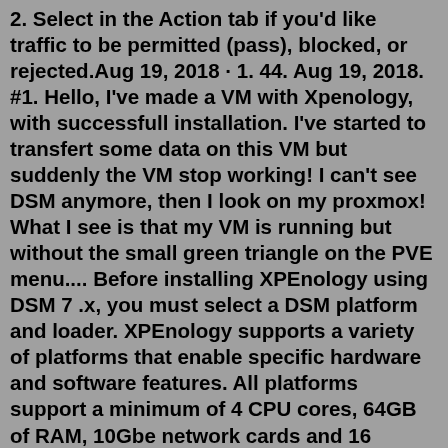2. Select in the Action tab if you'd like traffic to be permitted (pass), blocked, or rejected.Aug 19, 2018 · 1. 44. Aug 19, 2018. #1. Hello, I've made a VM with Xpenology, with successfull installation. I've started to transfert some data on this VM but suddenly the VM stop working! I can't see DSM anymore, then I look on my proxmox! What I see is that my VM is running but without the small green triangle on the PVE menu.... Before installing XPEnology using DSM 7 .x, you must select a DSM platform and loader. XPEnology supports a variety of platforms that enable specific hardware and software features. All platforms support a minimum of 4 CPU cores, 64GB of RAM, 10Gbe network cards and 16 drives. Each can run "baremetal" as a stand-alone operating system OR as a virtual.Docker configured to run a KVM Virtual Machine of Xpenology DSM 6.2.3 / 7.0.1. 21 hours ago · 03b https://xpenology Synology DSM 6 me, ... Copy Jun's loader previously downloaded on proxmox server as . This is an A record which points to your WAN IP address. The